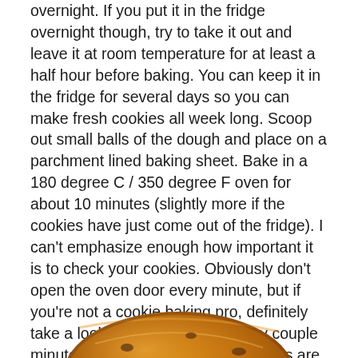overnight.  If you put it in the fridge overnight though, try to take it out and leave it at room temperature for at least a half hour before baking.  You can keep it in the fridge for several days so you can make fresh cookies all week long.  Scoop out small balls of the dough and place on a parchment lined baking sheet.  Bake in a 180 degree C / 350 degree F oven for about 10 minutes (slightly more if the cookies have just come out of the fridge).  I can't emphasize enough how important it is to check your cookies.  Obviously don't open the oven door every minute, but if you're not a cookie baking pro, definitely take a look at 8 minutes and every couple minutes after that.  Overbaked cookies are so disappointing, especially if you are like me and really enjoy soft cookies that are just lightly browned around the edges.  Enjoy!
[Figure (photo): Close-up photo of a golden-brown cookie with warm amber and brown tones, partially visible at the bottom of the page.]